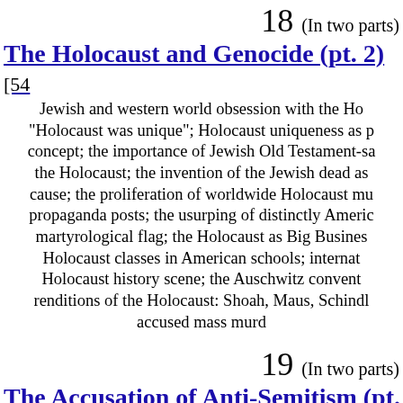18 (In two parts)
The Holocaust and Genocide (pt. 2) [54...
Jewish and western world obsession with the Ho... "Holocaust was unique"; Holocaust uniqueness as p... concept; the importance of Jewish Old Testament-sa... the Holocaust; the invention of the Jewish dead as... cause; the proliferation of worldwide Holocaust mu... propaganda posts; the usurping of distinctly Americ... martyrological flag; the Holocaust as Big Busines... Holocaust classes in American schools; internat... Holocaust history scene; the Auschwitz convent... renditions of the Holocaust: Shoah, Maus, Schindle... accused mass murd...
19 (In two parts)
The Accusation of Anti-Semitism (pt. 1...
pages] The necessity of the anti-Semite in Jewis... Semitism is an irrational, mystifying, psycholog... categorically innocent and blameless for the tradi... Freud and his theories of psychoanalysis; continue... psychoanalysis; psychoanalysis as a "Jewish scien...